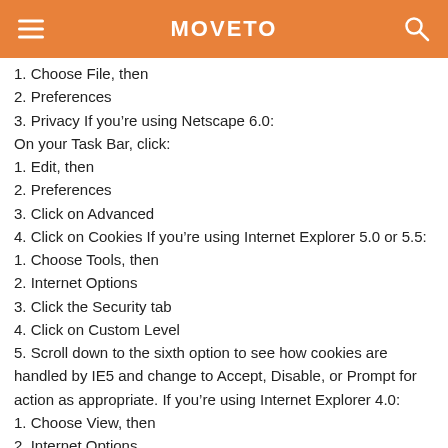MOVETO
1. Choose File, then
2. Preferences
3. Privacy If you're using Netscape 6.0:
On your Task Bar, click:
1. Edit, then
2. Preferences
3. Click on Advanced
4. Click on Cookies If you're using Internet Explorer 5.0 or 5.5:
1. Choose Tools, then
2. Internet Options
3. Click the Security tab
4. Click on Custom Level
5. Scroll down to the sixth option to see how cookies are handled by IE5 and change to Accept, Disable, or Prompt for action as appropriate. If you're using Internet Explorer 4.0:
1. Choose View, then
2. Internet Options
3. Click the Advanced tab
4. Scroll down to the yellow exclamation icon under Security and choose one of the three options to regulate your use of cookies. In Internet Explorer 3.0:
You can View, Options, Advanced, then click on the button that say...